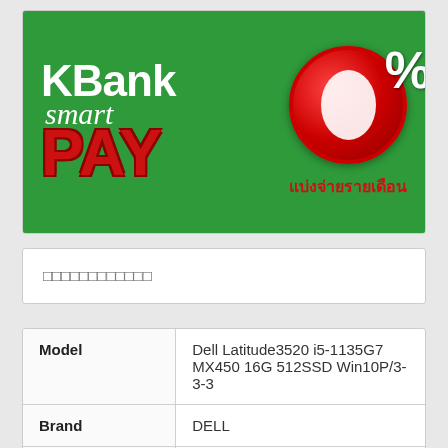[Figure (logo): KBank Smart PAY 0% installment payment banner. Green background with white KBank text, italic 'smart' text, bold red PAY text on left side. Large red circular 0% symbol with Thai text 'แบ่งจ่ายรายเดือน' on right side.]
□□□□□□□□□□□□
| Model | Dell Latitude3520 i5-1135G7 MX450 16G 512SSD Win10P/3-3-3 |
| Brand | DELL |
| Part Number | DEL-SNS3520002 |